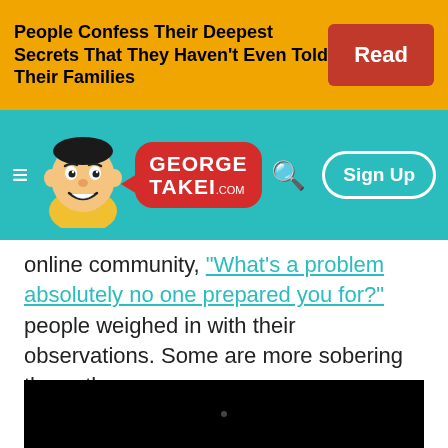People Confess Their Deepest Secrets That They Haven't Even Told Their Families   [Read]
[Figure (logo): George Takei website navigation bar with cartoon mascot, logo bubble, search icon, and Sign Up button on teal background]
online community, "What's a problem absolutely no one prepared you for?" people weighed in with their observations. Some are more sobering than others.
[Figure (photo): Black video player rectangle]